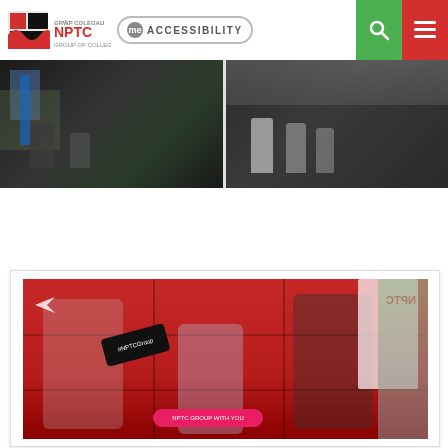NPTC Group of Colleges - me ACCESSIBILITY
[Figure (photo): Two side-by-side photos at top: left photo shows students sitting outdoors against a dark wall, right photo shows students standing outdoors]
[Figure (photo): Large photo of three students jumping joyfully in front of a red wall, holding papers and signs with #NPTCGroup hashtag]